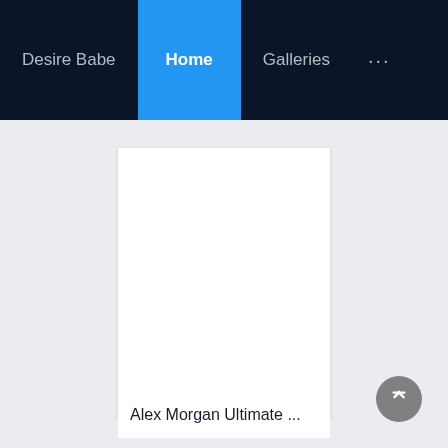Desire Babe  Home  Galleries  ...
[Figure (screenshot): White card/content area placeholder on light gray background]
Alex Morgan Ultimate ...